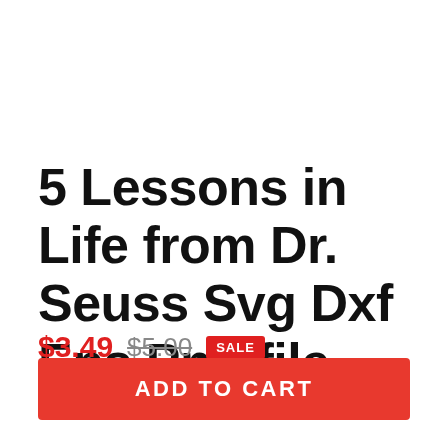5 Lessons in Life from Dr. Seuss Svg Dxf Eps Png file
$3.49  $5.00  SALE
ADD TO CART